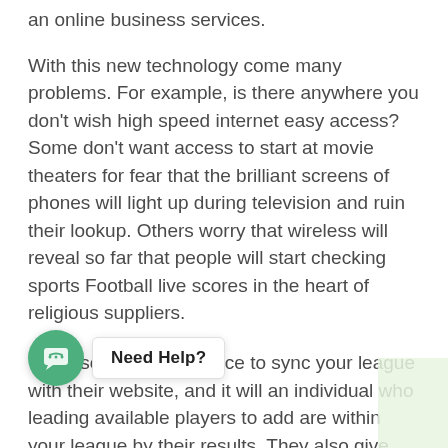an online business services.
With this new technology come many problems. For example, is there anywhere you don't wish high speed internet easy access? Some don't want access to start at movie theaters for fear that the brilliant screens of phones will light up during television and ruin their lookup. Others worry that wireless will reveal so far that people will start checking sports Football live scores in the heart of religious suppliers.
You also have the chance to sync your league with their website, and it will an individual who leading available players to add are within your league by their results. They also give notes and news on your players. The actual reason being all cost.
If you search by the internet just come across several websites that … these trades. It is important for the websites that are genuine and would not flee away with Football …